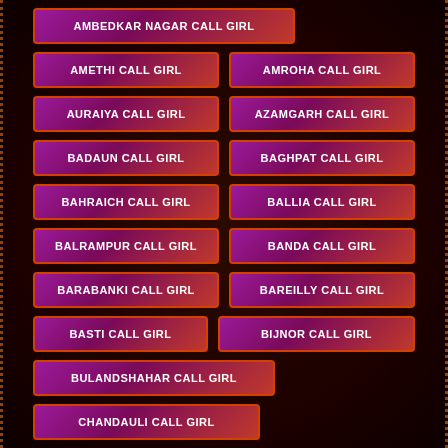AMBEDKAR NAGAR CALL GIRL
AMETHI CALL GIRL
AMROHA CALL GIRL
AURAIYA CALL GIRL
AZAMGARH CALL GIRL
BADAUN CALL GIRL
BAGHPAT CALL GIRL
BAHRAICH CALL GIRL
BALLIA CALL GIRL
BALRAMPUR CALL GIRL
BANDA CALL GIRL
BARABANKI CALL GIRL
BAREILLY CALL GIRL
BASTI CALL GIRL
BIJNOR CALL GIRL
BULANDSHAHAR CALL GIRL
CHANDAULI CALL GIRL